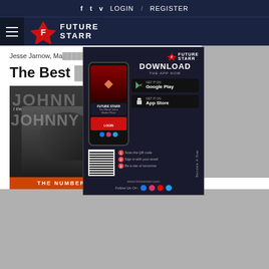f  t  v  LOGIN  /  REGISTER
[Figure (logo): Future Starr logo with star icon and hamburger menu on dark navy background]
Jesse Jarnow, Ma... Exchange I've been exchanging...
The Best ... Songs List From ...
[Figure (photo): Johnny Cash album cover - The Number Ones, black and white photo of Johnny Cash]
[Figure (infographic): Future Starr app download popup with phone mockup, Google Play and App Store buttons, QR code, and steps to become a star]